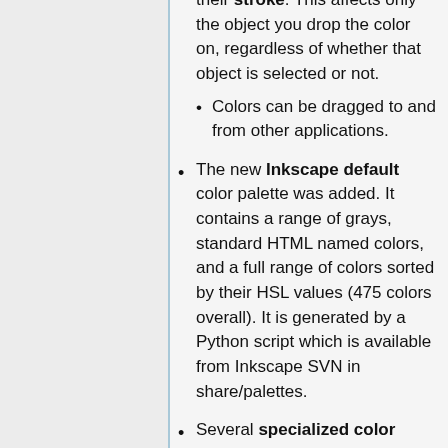their stroke. This affects only the object you drop the color on, regardless of whether that object is selected or not.
Colors can be dragged to and from other applications.
The new Inkscape default color palette was added. It contains a range of grays, standard HTML named colors, and a full range of colors sorted by their HSL values (475 colors overall). It is generated by a Python script which is available from Inkscape SVN in share/palettes.
Several specialized color palettes, useful in color-coordinated projects, were created or borrowed from GIMP: Grays, Reds, Greens, Blues, Gold, Royal, Khaki, Hilite, and Topographic.